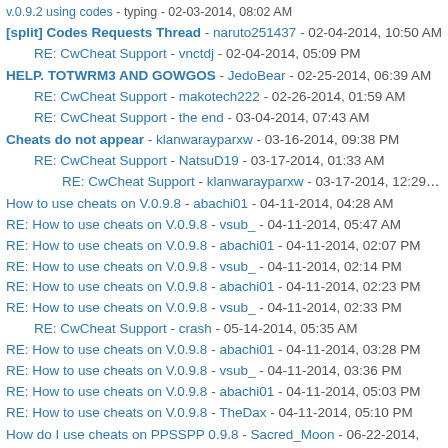[split] Codes Requests Thread - naruto251437 - 02-04-2014, 10:50 AM
RE: CwCheat Support - vnctdj - 02-04-2014, 05:09 PM
HELP. TOTWRM3 AND GOWGOS - JedoBear - 02-25-2014, 06:39 AM
RE: CwCheat Support - makotech222 - 02-26-2014, 01:59 AM
RE: CwCheat Support - the end - 03-04-2014, 07:43 AM
Cheats do not appear - klanwarayparxw - 03-16-2014, 09:38 PM
RE: CwCheat Support - NatsuD19 - 03-17-2014, 01:33 AM
RE: CwCheat Support - klanwarayparxw - 03-17-2014, 12:29 PM
How to use cheats on V.0.9.8 - abachi01 - 04-11-2014, 04:28 AM
RE: How to use cheats on V.0.9.8 - vsub_ - 04-11-2014, 05:47 AM
RE: How to use cheats on V.0.9.8 - abachi01 - 04-11-2014, 02:07 PM
RE: How to use cheats on V.0.9.8 - vsub_ - 04-11-2014, 02:14 PM
RE: How to use cheats on V.0.9.8 - abachi01 - 04-11-2014, 02:23 PM
RE: How to use cheats on V.0.9.8 - vsub_ - 04-11-2014, 02:33 PM
RE: CwCheat Support - crash - 05-14-2014, 05:35 AM
RE: How to use cheats on V.0.9.8 - abachi01 - 04-11-2014, 03:28 PM
RE: How to use cheats on V.0.9.8 - vsub_ - 04-11-2014, 03:36 PM
RE: How to use cheats on V.0.9.8 - abachi01 - 04-11-2014, 05:03 PM
RE: How to use cheats on V.0.9.8 - TheDax - 04-11-2014, 05:10 PM
How do I use cheats on PPSSPP 0.9.8 - Sacred_Moon - 06-22-2014, 07:47 PM
Tekken 6 Stage cheats - Goshack - 07-24-2014, 05:28 AM
How to cheat? - Lexus - 09-16-2014, 03:11 PM
how to creat the cheat codes - samthescam - 12-26-2014, 08:35 PM